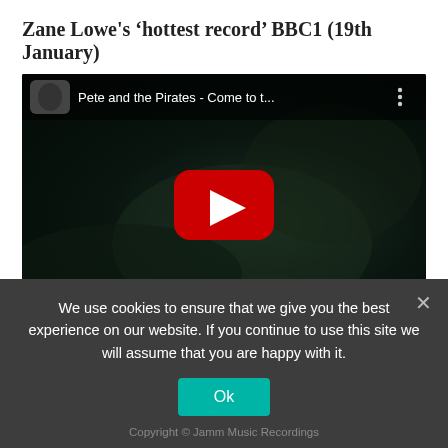Zane Lowe's ‘hottest record’ BBC1 (19th January)
[Figure (screenshot): YouTube video embed showing 'Pete and the Pirates - Come to t...' with dark moody video thumbnail, YouTube play button overlay, and video top bar with thumbnail and title.]
Previous Post
Next Post
We use cookies to ensure that we give you the best experience on our website. If you continue to use this site we will assume that you are happy with it.
Copyright © Jamm Music Recordings
Ok